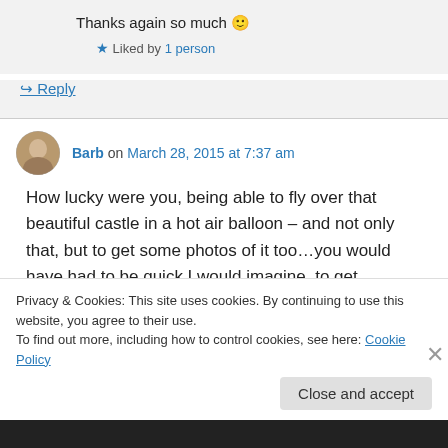Thanks again so much 🙂
★ Liked by 1 person
↪ Reply
Barb on March 28, 2015 at 7:37 am
How lucky were you, being able to fly over that beautiful castle in a hot air balloon – and not only that, but to get some photos of it too…you would have had to be quick I would imagine, to get
Privacy & Cookies: This site uses cookies. By continuing to use this website, you agree to their use. To find out more, including how to control cookies, see here: Cookie Policy
Close and accept